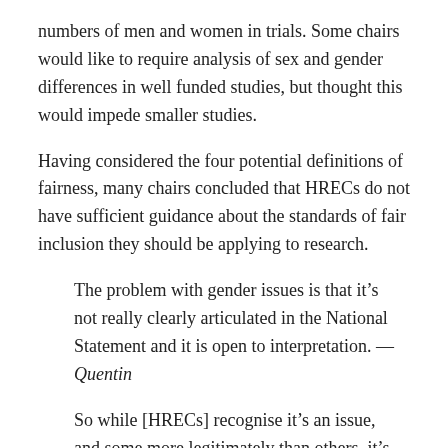numbers of men and women in trials. Some chairs would like to require analysis of sex and gender differences in well funded studies, but thought this would impede smaller studies.
Having considered the four potential definitions of fairness, many chairs concluded that HRECs do not have sufficient guidance about the standards of fair inclusion they should be applying to research.
The problem with gender issues is that it’s not really clearly articulated in the National Statement and it is open to interpretation. — Quentin
So while [HRECs] recognise it’s an issue, and some more legitimately than others, it’s sort of the too hard basket . . . unless you’ve got some fairly clear tools to be able to handle those sorts of complex issues. — Grant